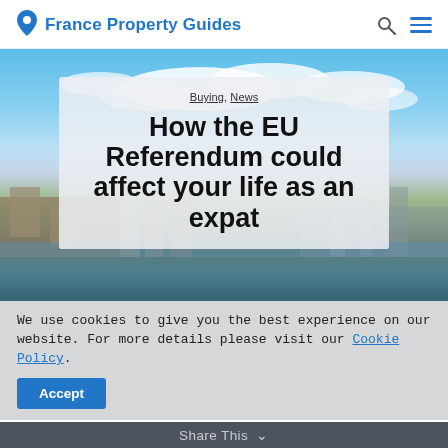France Property Guides
[Figure (photo): Aerial view of a French coastal city with blue sky and harbour, used as hero background image]
Buying, News
How the EU Referendum could affect your life as an expat
We use cookies to give you the best experience on our website. For more details please visit our Cookie Policy.
Accept
Share This